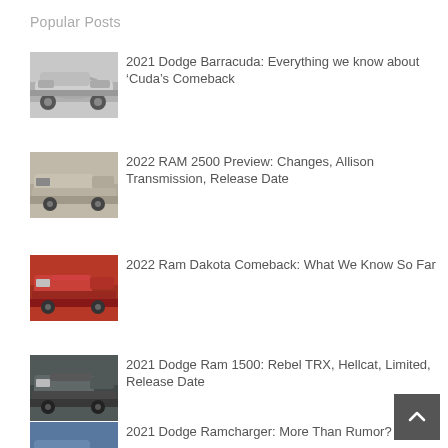Popular Posts
2021 Dodge Barracuda: Everything we know about ‘Cuda’s Comeback
2022 RAM 2500 Preview: Changes, Allison Transmission, Release Date
2022 Ram Dakota Comeback: What We Know So Far
2021 Dodge Ram 1500: Rebel TRX, Hellcat, Limited, Release Date
2021 Dodge Ramcharger: More Than Rumor?